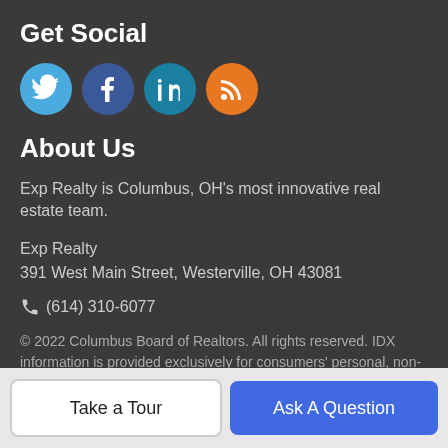Get Social
[Figure (illustration): Four social media icons in circles: Twitter (light blue), Facebook (dark blue), LinkedIn (teal), RSS (orange)]
About Us
Exp Realty is Columbus, OH's most innovative real estate team.
Exp Realty
391 West Main Street, Westerville, OH 43081
(614) 310-6077
© 2022 Columbus Board of Realtors. All rights reserved. IDX information is provided exclusively for consumers' personal, non-commercial use and may not be used for any purpose other than to identify prospective properties consumers may be interested in
Take a Tour
Ask A Question